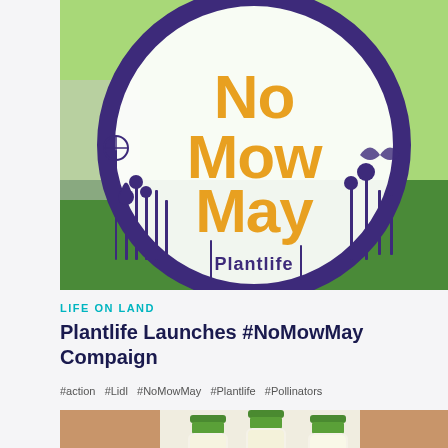[Figure (photo): Outdoor photo showing a large circular Plantlife No Mow May logo sign with purple border, orange/yellow text reading 'No Mow May', purple illustrated plants and wildlife silhouettes, and 'Plantlife' text at bottom, displayed in front of greenery and a vehicle.]
LIFE ON LAND
Plantlife Launches #NoMowMay Compaign
#action  #Lidl  #NoMowMay  #Plantlife  #Pollinators
[Figure (photo): Close-up photo of three glass milk bottles with green metal caps containing white liquid (milk), with blurred warm background.]